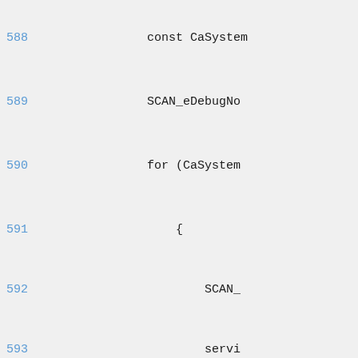588    const CaSystem
589    SCAN_eDebugNo
590    for (CaSystem
591        {
592            SCAN_
593            servi
>m_ca.push_front(*i);
594            }
595    SCAN_eDebug("
596        break;
597    }
598    default:
599        SCAN_eDebug("